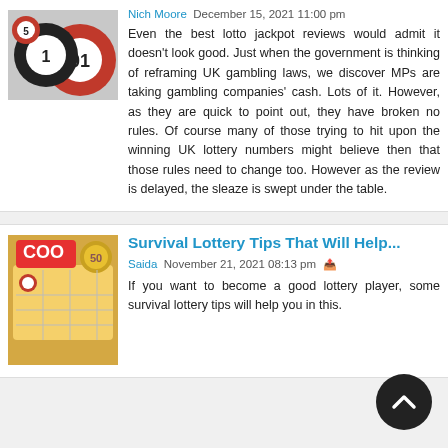[Figure (photo): Lottery balls image with numbers 1, 01 visible on red and black balls]
Nich Moore   December 15, 2021 11:00 pm
Even the best lotto jackpot reviews would admit it doesn't look good. Just when the government is thinking of reframing UK gambling laws, we discover MPs are taking gambling companies' cash. Lots of it. However, as they are quick to point out, they have broken no rules. Of course many of those trying to hit upon the winning UK lottery numbers might believe then that those rules need to change too. However as the review is delayed, the sleaze is swept under the table.
[Figure (photo): Lottery tickets and coins image with COO lotto logo]
Survival Lottery Tips That Will Help...
Saida   November 21, 2021 08:13 pm
If you want to become a good lottery player, some survival lottery tips will help you in this.